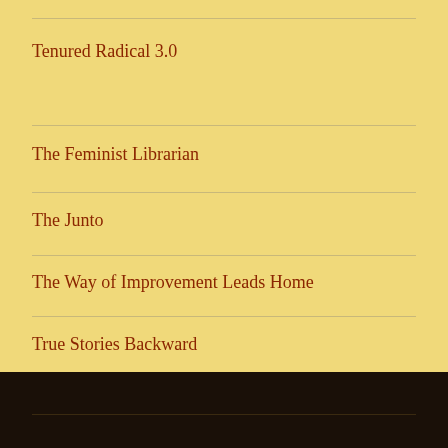Tenured Radical 3.0
The Feminist Librarian
The Junto
The Way of Improvement Leads Home
True Stories Backward
We Are Respectable Negroes